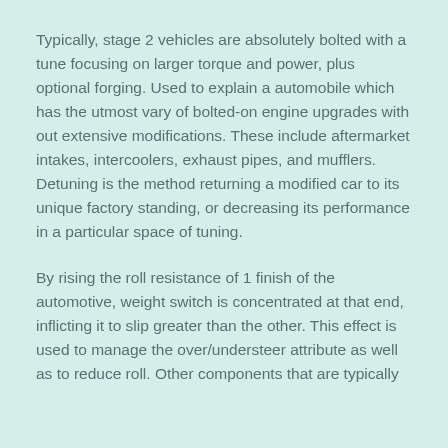Typically, stage 2 vehicles are absolutely bolted with a tune focusing on larger torque and power, plus optional forging. Used to explain a automobile which has the utmost vary of bolted-on engine upgrades with out extensive modifications. These include aftermarket intakes, intercoolers, exhaust pipes, and mufflers. Detuning is the method returning a modified car to its unique factory standing, or decreasing its performance in a particular space of tuning.
By rising the roll resistance of 1 finish of the automotive, weight switch is concentrated at that end, inflicting it to slip greater than the other. This effect is used to manage the over/understeer attribute as well as to reduce roll. Other components that are typically added to enthusiast vehicles are also...